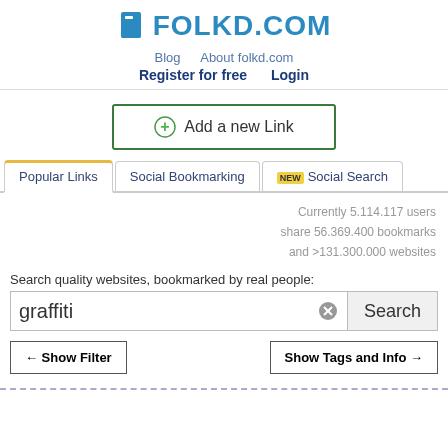[Figure (logo): Folkd.com logo with blue bookmark icon and blue text FOLKD.COM]
Blog   About folkd.com
Register for free   Login
[Figure (other): Add a new Link button with green border and plus circle icon]
Popular Links   Social Bookmarking   NEW Social Search
Currently 5.114.117 users share 56.369.400 bookmarks and >131.300.000 websites
Search quality websites, bookmarked by real people:
graffiti
← Show Filter   Show Tags and Info →